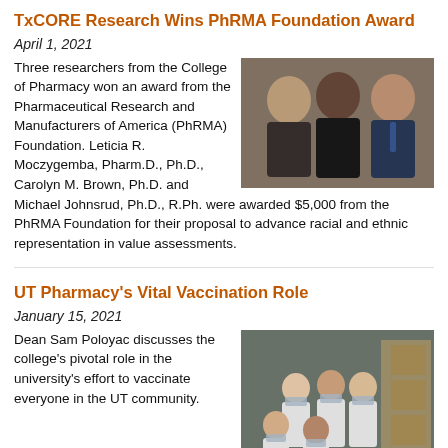TxCORE Research Wins PhRMA Foundation Award
April 1, 2021
[Figure (photo): Three researchers from the College of Pharmacy smiling together — two women and one man in professional attire.]
Three researchers from the College of Pharmacy won an award from the Pharmaceutical Research and Manufacturers of America (PhRMA) Foundation. Leticia R. Moczygemba, Pharm.D., Ph.D., Carolyn M. Brown, Ph.D. and Michael Johnsrud, Ph.D., R.Ph. were awarded $5,000 from the PhRMA Foundation for their proposal to advance racial and ethnic representation in value assessments.
UT Pharmacy's Vital Vaccination Role
January 15, 2021
[Figure (photo): Group photo of pharmacy students and staff in white lab coats and masks, posing together in a warehouse setting.]
Dean Sam Poloyac discusses the college's pivotal role in the university's effort to vaccinate everyone in the UT community.